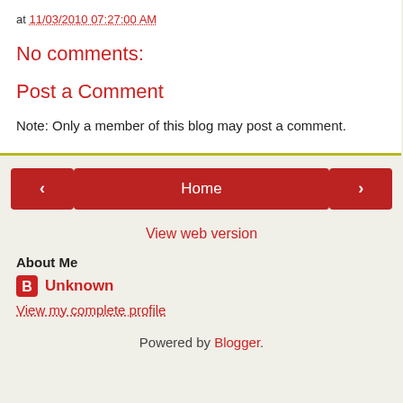at 11/03/2010 07:27:00 AM
No comments:
Post a Comment
Note: Only a member of this blog may post a comment.
[Figure (other): Navigation bar with previous arrow button, Home button, and next arrow button]
View web version
About Me
Unknown
View my complete profile
Powered by Blogger.